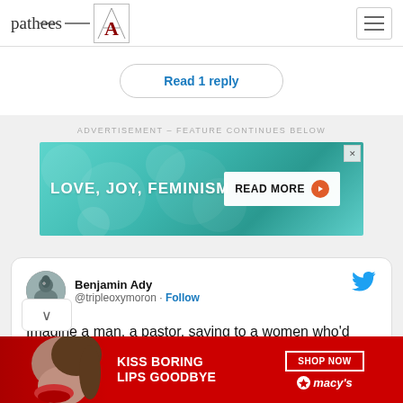patheos | A logo | hamburger menu
Read 1 reply
ADVERTISEMENT – feature continues below
[Figure (advertisement): LOVE, JOY, FEMINISM banner ad with READ MORE button on teal bokeh background]
[Figure (screenshot): Tweet by Benjamin Ady @tripleoxymoron with Follow link and Twitter bird icon. Tweet text: Imagine a man, a pastor, saying to a women who'd been raped "God has this way of not wasting pain"]
[Figure (advertisement): KISS BORING LIPS GOODBYE bottom banner ad with SHOP NOW and Macy's logo, red background]